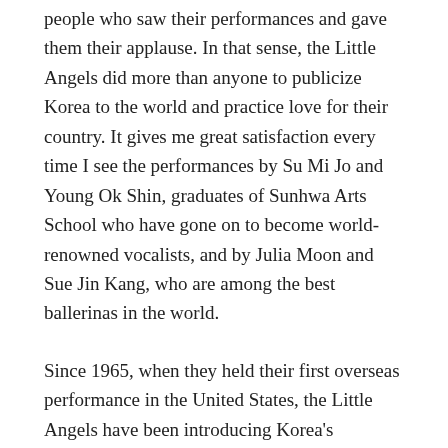people who saw their performances and gave them their applause. In that sense, the Little Angels did more than anyone to publicize Korea to the world and practice love for their country. It gives me great satisfaction every time I see the performances by Su Mi Jo and Young Ok Shin, graduates of Sunhwa Arts School who have gone on to become world-renowned vocalists, and by Julia Moon and Sue Jin Kang, who are among the best ballerinas in the world.
Since 1965, when they held their first overseas performance in the United States, the Little Angels have been introducing Korea's beautiful tradition all over the world. They were invited by the British royal family to perform in the presence of Queen Elizabeth II. They were invited to take part in the bicentennial celebration in the United States, where they performed at the John F. Kennedy